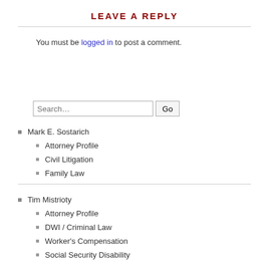LEAVE A REPLY
You must be logged in to post a comment.
Mark E. Sostarich
Attorney Profile
Civil Litigation
Family Law
Tim Mistrioty
Attorney Profile
DWI / Criminal Law
Worker's Compensation
Social Security Disability